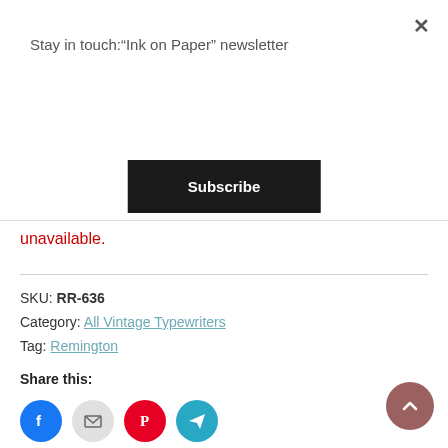Stay in touch:"Ink on Paper" newsletter
Subscribe
unavailable.
SKU: RR-636
Category: All Vintage Typewriters
Tag: Remington
Share this:
[Figure (other): Social sharing icons: Facebook, Email, Pinterest, Telegram circles]